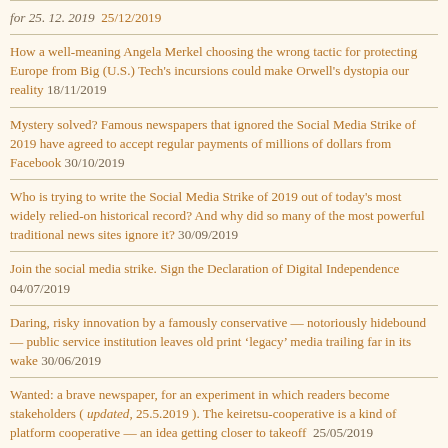for 25. 12. 2019  25/12/2019
How a well-meaning Angela Merkel choosing the wrong tactic for protecting Europe from Big (U.S.) Tech's incursions could make Orwell's dystopia our reality 18/11/2019
Mystery solved? Famous newspapers that ignored the Social Media Strike of 2019 have agreed to accept regular payments of millions of dollars from Facebook 30/10/2019
Who is trying to write the Social Media Strike of 2019 out of today's most widely relied-on historical record? And why did so many of the most powerful traditional news sites ignore it? 30/09/2019
Join the social media strike. Sign the Declaration of Digital Independence 04/07/2019
Daring, risky innovation by a famously conservative — notoriously hidebound — public service institution leaves old print 'legacy' media trailing far in its wake 30/06/2019
Wanted: a brave newspaper, for an experiment in which readers become stakeholders ( updated, 25.5.2019 ). The keiretsu-cooperative is a kind of platform cooperative — an idea getting closer to takeoff  25/05/2019